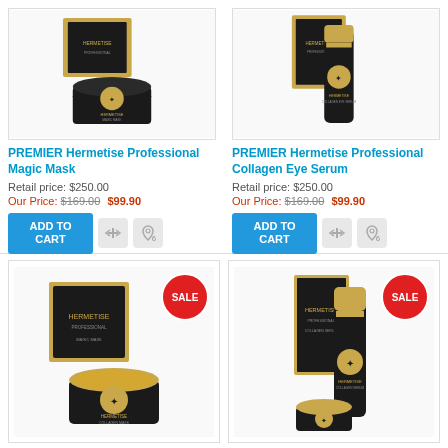[Figure (photo): PREMIER Hermetise Professional Magic Mask product photo - black jar with gold accents on white background]
PREMIER Hermetise Professional Magic Mask
Retail price: $250.00
Our Price: $169.00 $99.90
[Figure (photo): PREMIER Hermetise Professional Collagen Eye Serum product photo - black cylindrical bottle with gold accents on white background]
PREMIER Hermetise Professional Collagen Eye Serum
Retail price: $250.00
Our Price: $169.00 $99.90
[Figure (photo): PREMIER Hermetise product photo (bottom left) with SALE badge - black jar with gold lid and box]
[Figure (photo): PREMIER Hermetise product photo (bottom right) with SALE badge - black bottle with gold cap and box]